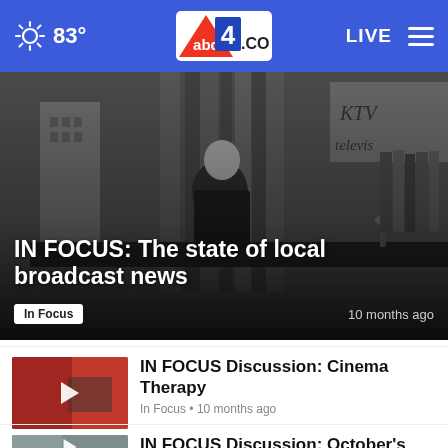83° abc4.com LIVE
[Figure (photo): Black and white photo of a man in a suit at a desk, appears to be a vintage broadcast news studio setting. Sign in background reads 'KTV television'.]
IN FOCUS: The state of local broadcast news
In Focus
10 months ago
[Figure (photo): Thumbnail image with red background and play icon for Cinema Therapy video]
IN FOCUS Discussion: Cinema Therapy
In Focus • 10 months ago
[Figure (photo): Thumbnail image with nature/outdoor background and play icon]
IN FOCUS Discussion: October's